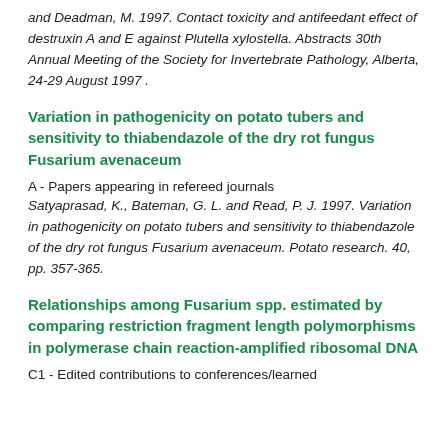and Deadman, M. 1997. Contact toxicity and antifeedant effect of destruxin A and E against Plutella xylostella. Abstracts 30th Annual Meeting of the Society for Invertebrate Pathology, Alberta, 24-29 August 1997 .
Variation in pathogenicity on potato tubers and sensitivity to thiabendazole of the dry rot fungus Fusarium avenaceum
A - Papers appearing in refereed journals
Satyaprasad, K., Bateman, G. L. and Read, P. J. 1997. Variation in pathogenicity on potato tubers and sensitivity to thiabendazole of the dry rot fungus Fusarium avenaceum. Potato research. 40, pp. 357-365.
Relationships among Fusarium spp. estimated by comparing restriction fragment length polymorphisms in polymerase chain reaction-amplified ribosomal DNA
C1 - Edited contributions to conferences/learned